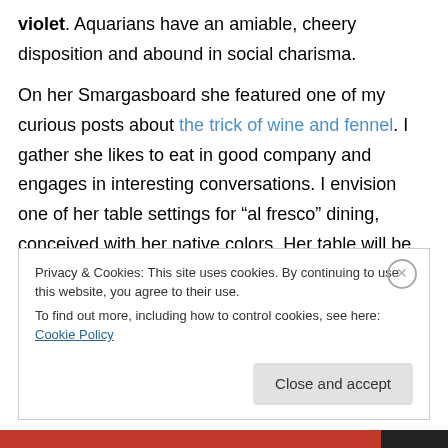violet. Aquarians have an amiable, cheery disposition and abound in social charisma.
On her Smargasboard she featured one of my curious posts about the trick of wine and fennel. I gather she likes to eat in good company and engages in interesting conversations. I envision one of her table settings for “al fresco” dining, conceived with her native colors. Her table will be covered with a pale yellow tablecloth, on top of which I will place turquoise plates and drinking glasses
Privacy & Cookies: This site uses cookies. By continuing to use this website, you agree to their use.
To find out more, including how to control cookies, see here: Cookie Policy
Close and accept